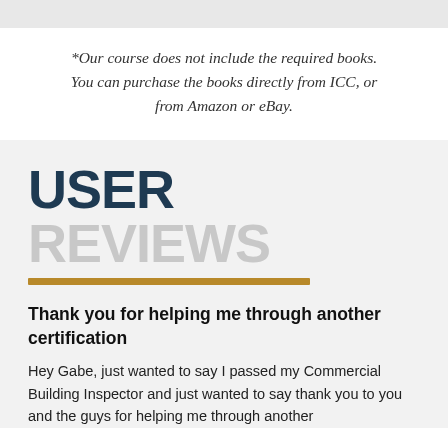*Our course does not include the required books. You can purchase the books directly from ICC, or from Amazon or eBay.
USER REVIEWS
Thank you for helping me through another certification
Hey Gabe, just wanted to say I passed my Commercial Building Inspector and just wanted to say thank you to you and the guys for helping me through another